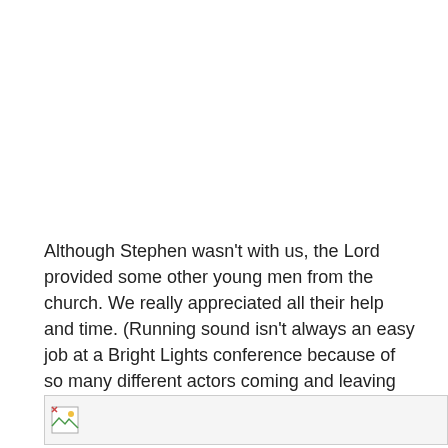Although Stephen wasn't with us, the Lord provided some other young men from the church. We really appreciated all their help and time. (Running sound isn't always an easy job at a Bright Lights conference because of so many different actors coming and leaving stage during the skits.)
[Figure (photo): Broken/missing image placeholder icon at bottom of page]